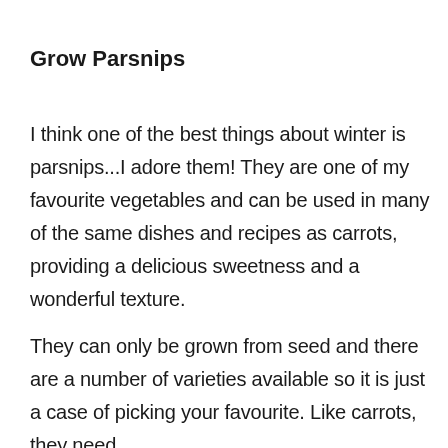Grow Parsnips
I think one of the best things about winter is parsnips...I adore them! They are one of my favourite vegetables and can be used in many of the same dishes and recipes as carrots, providing a delicious sweetness and a wonderful texture.
They can only be grown from seed and there are a number of varieties available so it is just a case of picking your favourite. Like carrots, they need